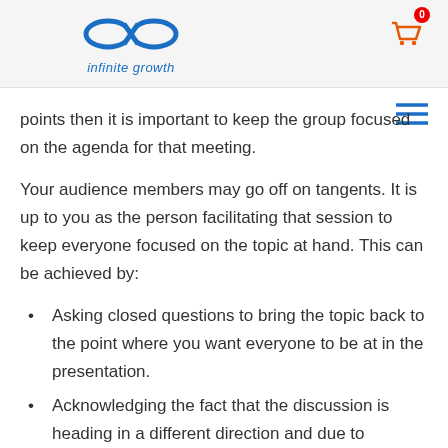infinite growth
points then it is important to keep the group focused on the agenda for that meeting.
Your audience members may go off on tangents. It is up to you as the person facilitating that session to keep everyone focused on the topic at hand. This can be achieved by:
Asking closed questions to bring the topic back to the point where you want everyone to be at in the presentation.
Acknowledging the fact that the discussion is heading in a different direction and due to